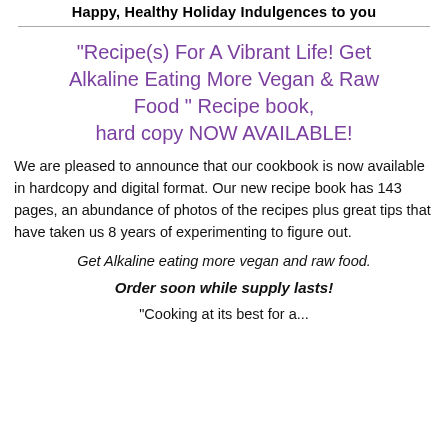Happy, Healthy Holiday Indulgences to you
"Recipe(s) For A Vibrant Life! Get Alkaline Eating More Vegan & Raw Food " Recipe book, hard copy NOW AVAILABLE!
We are pleased to announce that our cookbook is now available in hardcopy and digital format. Our new recipe book has 143 pages, an abundance of photos of the recipes plus great tips that have taken us 8 years of experimenting to figure out.
Get Alkaline eating more vegan and raw food.
Order soon while supply lasts!
"Cooking at its best for a...